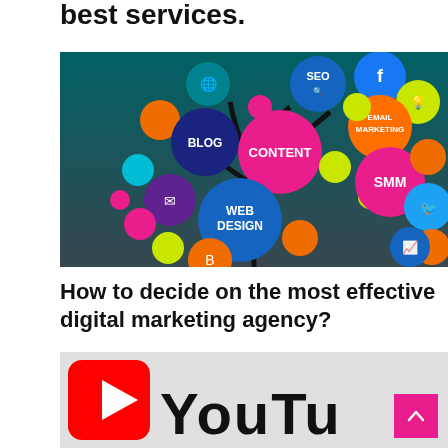best services.
[Figure (infographic): Digital marketing tree infographic with colorful circles representing SEO, Facebook, Email Marketing, Blog, Content, Web Design, SMM, Twitter, analytics icons, and other digital marketing services arranged as tree branches on a teal/dark background.]
How to decide on the most effective digital marketing agency?
[Figure (photo): Partial view of a YouTube logo with red play button icon and black YouTube text lettering on a light grey background.]